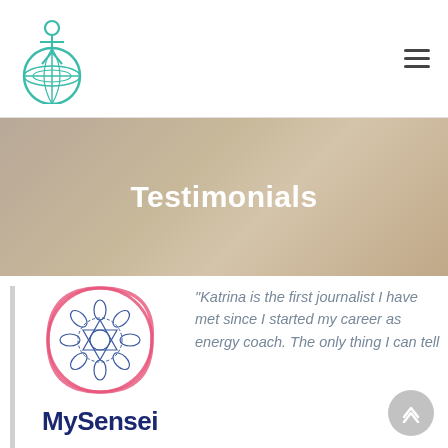MySensei logo and navigation hamburger menu
Testimonials
[Figure (logo): MySensei logo: mandala/chakra symbol inside a pink brushstroke circle, with 'MySensei' text below in dark navy blue]
“Katrina is the first journalist I have met since I started my career as energy coach. The only thing I can tell